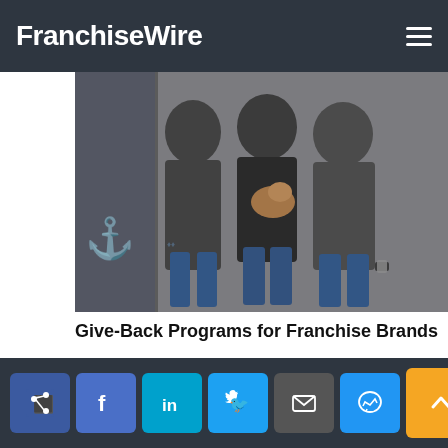FranchiseWire
[Figure (photo): Three people wearing dark polo shirts standing in front of a store; the middle person is holding a small dog]
Give-Back Programs for Franchise Brands
[Figure (photo): Close-up blurred photo of a candy cane and colorful background, likely a drink or holiday themed image]
Social share buttons: Facebook share, Facebook like, LinkedIn, Twitter, Email, Messenger; Scroll to top button